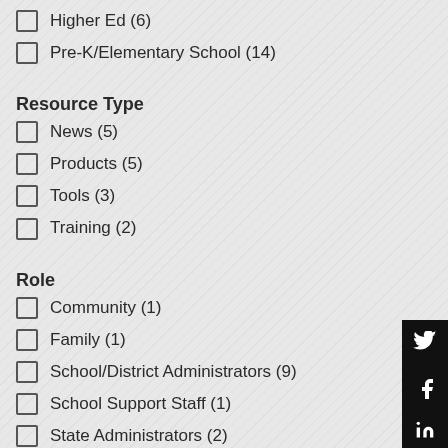Higher Ed (6)
Pre-K/Elementary School (14)
Resource Type
News (5)
Products (5)
Tools (3)
Training (2)
Role
Community (1)
Family (1)
School/District Administrators (9)
School Support Staff (1)
State Administrators (2)